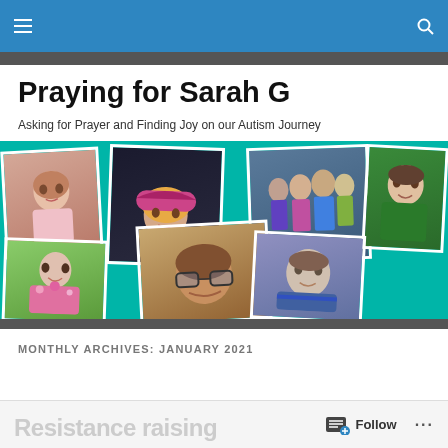Navigation bar with hamburger menu and search icon
Praying for Sarah G
Asking for Prayer and Finding Joy on our Autism Journey
[Figure (photo): Photo collage banner on teal background showing multiple family photos including children and adults, with text 'Pray for Sarah' visible on one image]
MONTHLY ARCHIVES: JANUARY 2021
Resistance raising — Follow ... (WordPress footer bar)